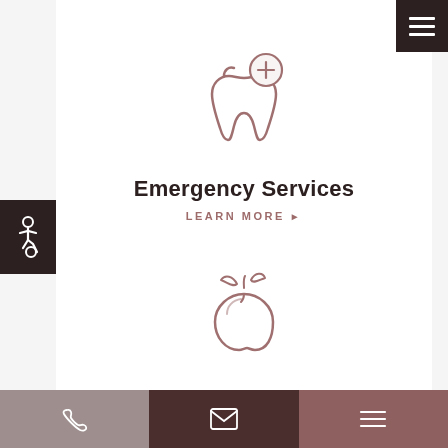[Figure (illustration): Tooth icon with a plus/magnifying glass circle — represents emergency dental services]
Emergency Services
LEARN MORE ▶
[Figure (illustration): Apple icon with leaves — represents children's dental services]
Children's Services
Phone | Email | Menu navigation bar